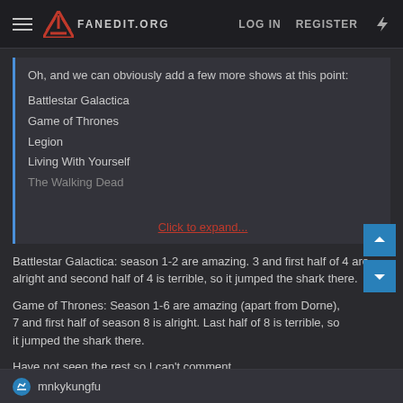FANEDIT.ORG  LOG IN  REGISTER
Oh, and we can obviously add a few more shows at this point:
Battlestar Galactica
Game of Thrones
Legion
Living With Yourself
The Walking Dead
Click to expand...
Battlestar Galactica: season 1-2 are amazing. 3 and first half of 4 are alright and second half of 4 is terrible, so it jumped the shark there.
Game of Thrones: Season 1-6 are amazing (apart from Dorne), 7 and first half of season 8 is alright. Last half of 8 is terrible, so it jumped the shark there.
Have not seen the rest so I can't comment.
mnkykungfu